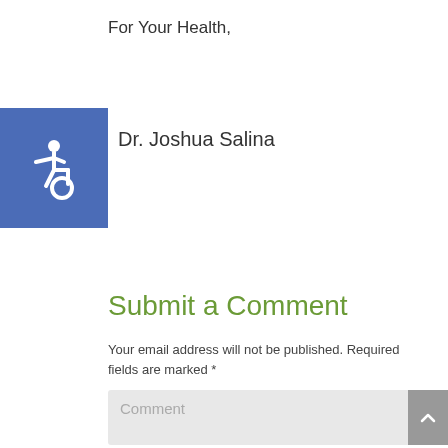For Your Health,
[Figure (illustration): Blue square with white wheelchair accessibility icon]
Dr. Joshua Salina
Submit a Comment
Your email address will not be published. Required fields are marked *
Comment